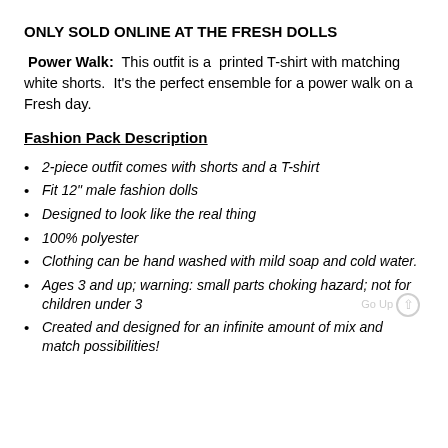ONLY SOLD ONLINE AT THE FRESH DOLLS
Power Walk: This outfit is a printed T-shirt with matching white shorts. It's the perfect ensemble for a power walk on a Fresh day.
Fashion Pack Description
2-piece outfit comes with shorts and a T-shirt
Fit 12" male fashion dolls
Designed to look like the real thing
100% polyester
Clothing can be hand washed with mild soap and cold water.
Ages 3 and up; warning: small parts choking hazard; not for children under 3
Created and designed for an infinite amount of mix and match possibilities!